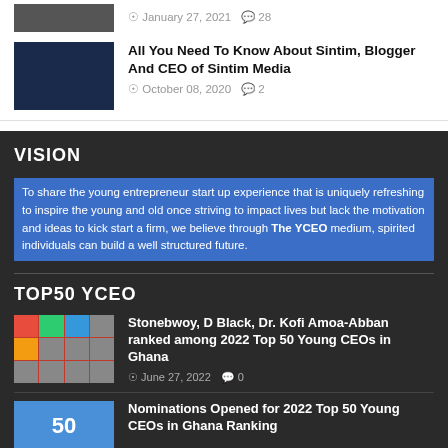[Figure (photo): Partial photo of a person at top]
January 27, 2021  28
[Figure (photo): Man in blue shirt holding phone, dark blue background]
All You Need To Know About Sintim, Blogger And CEO of Sintim Media
October 08, 2020  2
VISION
To share the young entrepreneur start up experience that is uniquely refreshing to inspire the young and old once striving to impact lives but lack the motivation and ideas to kick start a firm, we believe through The YCEO medium, spirited individuals can build a well structured future.
TOP50 YCEO
[Figure (photo): Grid of faces - Top 50 Young CEOs Ghana 2022]
Stonebwoy, D Black, Dr. Kofi Amoa-Abban ranked among 2022 Top 50 Young CEOs in Ghana
June 27, 2022  0
[Figure (photo): Colorful graphic with number 50]
Nominations Opened for 2022 Top 50 Young CEOs in Ghana Ranking